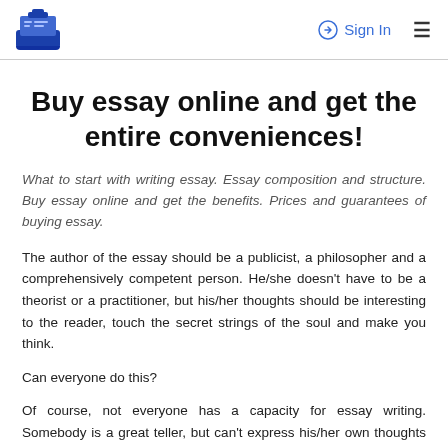Sign In  ≡
Buy essay online and get the entire conveniences!
What to start with writing essay. Essay composition and structure. Buy essay online and get the benefits. Prices and guarantees of buying essay.
The author of the essay should be a publicist, a philosopher and a comprehensively competent person. He/she doesn't have to be a theorist or a practitioner, but his/her thoughts should be interesting to the reader, touch the secret strings of the soul and make you think.
Can everyone do this?
Of course, not everyone has a capacity for essay writing. Somebody is a great teller, but can't express his/her own thoughts in a written form. The other one doesn't have an independent